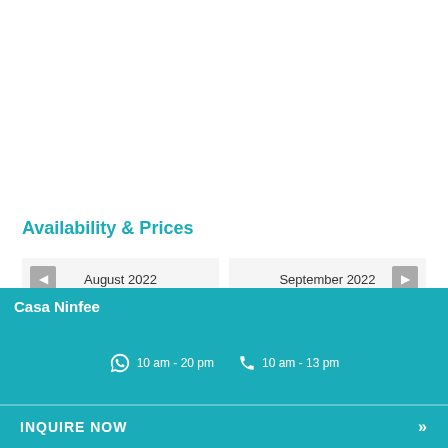Availability & Prices
|  | August 2022 |  |
| --- | --- | --- |
| M | T | W | T | F | S | S |
| 1 | 2 | 3 | 4 | 5 | 6 | 7 |
|  | September 2022 |  |
| --- | --- | --- |
| M | T | W | T | F | S | S |
|  |  |  | 1 | 2 | 3 | 4 |
Casa Ninfee
10 am - 20 pm
10 am - 13 pm
INQUIRE NOW